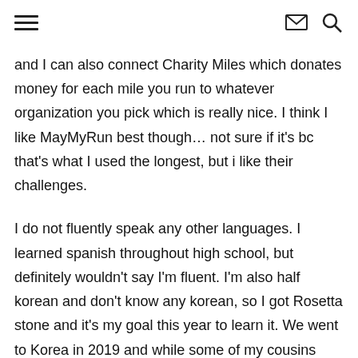≡  ✉  🔍
and I can also connect Charity Miles which donates money for each mile you run to whatever organization you pick which is really nice. I think I like MayMyRun best though… not sure if it's bc that's what I used the longest, but i like their challenges.
I do not fluently speak any other languages. I learned spanish throughout high school, but definitely wouldn't say I'm fluent. I'm also half korean and don't know any korean, so I got Rosetta stone and it's my goal this year to learn it. We went to Korea in 2019 and while some of my cousins could speak english very well, there were more that couldn't, especially my aunts so it was hard to have that barrier. We plan